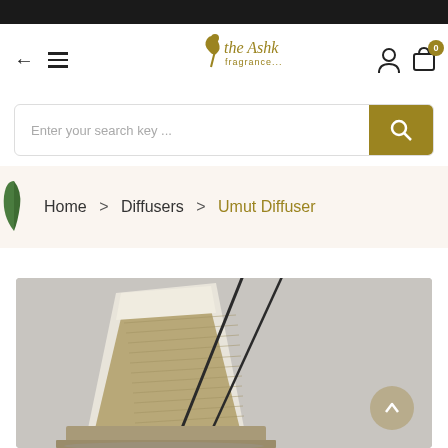[Figure (logo): The Ashk Fragrance logo with stylized golden figure and text]
Enter your search key ...
Home > Diffusers > Umut Diffuser
[Figure (photo): Product photo of Umut Diffuser - a sculptural white and textured beige diffuser with black reed sticks on a grey background]